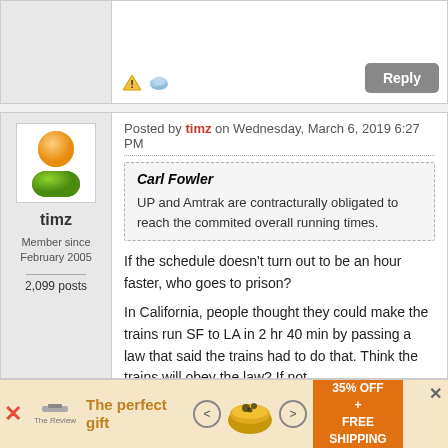[Figure (other): Top portion of a previous forum post with Reply button and warning icons]
Posted by timz on Wednesday, March 6, 2019 6:27 PM
[Figure (illustration): Default user avatar with orange circle head and green body]
timz
Member since February 2005
2,099 posts
Carl Fowler
UP and Amtrak are contracturally obligated to reach the commited overall running times.
If the schedule doesn't turn out to be an hour faster, who goes to prison?

In California, people thought they could make the trains run SF to LA in 2 hr 40 min by passing a law that said the trains had to do that. Think the trains will obey the law? If not
[Figure (other): Advertisement banner: The perfect gift, 35% OFF + FREE SHIPPING]